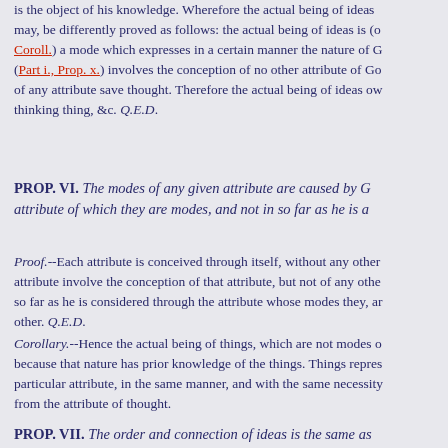is the object of his knowledge. Wherefore the actual being of ideas may, be differently proved as follows: the actual being of ideas is (o Coroll.) a mode which expresses in a certain manner the nature of G (Part i., Prop. x.) involves the conception of no other attribute of Go of any attribute save thought. Therefore the actual being of ideas ow thinking thing, &c. Q.E.D.
PROP. VI. The modes of any given attribute are caused by G attribute of which they are modes, and not in so far as he is a
Proof.--Each attribute is conceived through itself, without any other attribute involve the conception of that attribute, but not of any othe so far as he is considered through the attribute whose modes they, ar other. Q.E.D.
Corollary.--Hence the actual being of things, which are not modes o because that nature has prior knowledge of the things. Things repres particular attribute, in the same manner, and with the same necessity from the attribute of thought.
PROP. VII. The order and connection of ideas is the same as